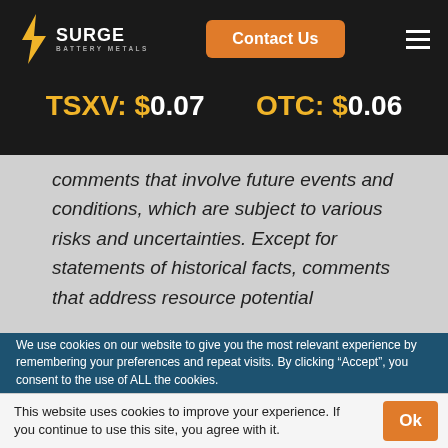[Figure (logo): Surge Battery Metals logo with lightning bolt icon]
Contact Us
TSXV: $0.07
OTC: $0.06
comments that involve future events and conditions, which are subject to various risks and uncertainties. Except for statements of historical facts, comments that address resource potential
We use cookies on our website to give you the most relevant experience by remembering your preferences and repeat visits. By clicking “Accept”, you consent to the use of ALL the cookies.
This website uses cookies to improve your experience. If you continue to use this site, you agree with it.